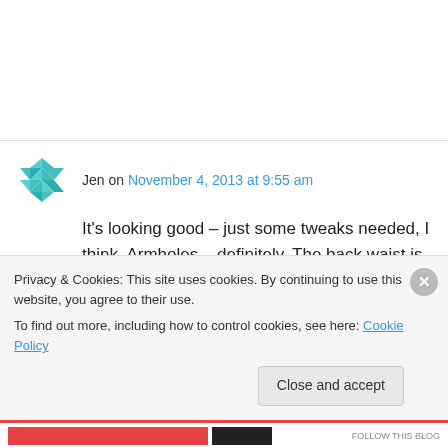Jen on November 4, 2013 at 9:55 am
It's looking good – just some tweaks needed, I think. Armholes – definitely. The back waist is drooping, and so it looks like you need to fold out some of that fabric. Front is a little long in the waist too, but that might disappear over slightly bulkier clothing or light shoulder padding. The
Privacy & Cookies: This site uses cookies. By continuing to use this website, you agree to their use. To find out more, including how to control cookies, see here: Cookie Policy
Close and accept